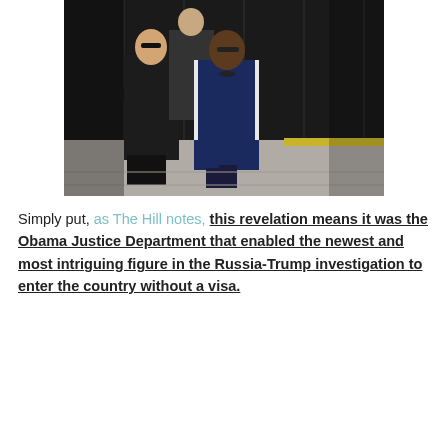[Figure (photo): Photo of a woman in a navy blue suit jacket walking alongside two men in dark suits, appearing to be on a tarmac or outdoor area with a dark corrugated wall in the background.]
Simply put, as The Hill notes, this revelation means it was the Obama Justice Department that enabled the newest and most intriguing figure in the Russia-Trump investigation to enter the country without a visa.